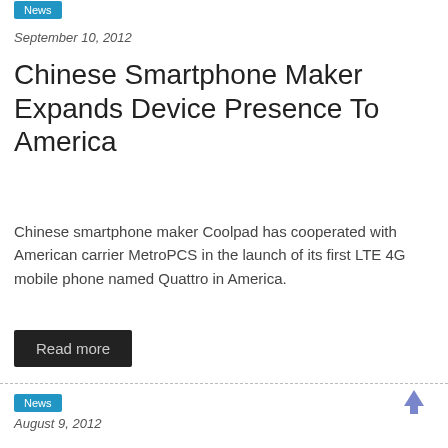News
September 10, 2012
Chinese Smartphone Maker Expands Device Presence To America
Chinese smartphone maker Coolpad has cooperated with American carrier MetroPCS in the launch of its first LTE 4G mobile phone named Quattro in America.
Read more
News
August 9, 2012